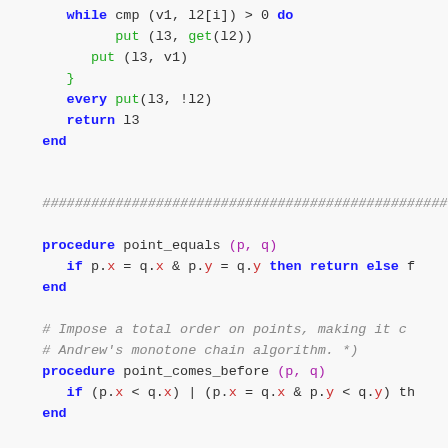Code snippet showing procedures: while loop with put/get, every/return, and procedure definitions for point_equals, point_comes_before, point_subtract with comments about total order and Andrew's monotone chain algorithm.